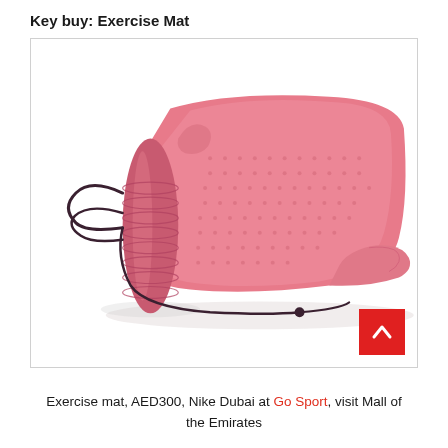Key buy: Exercise Mat
[Figure (photo): A pink exercise/yoga mat partially rolled up with a dark carrying strap, photographed on a white background.]
Exercise mat, AED300, Nike Dubai at Go Sport, visit Mall of the Emirates